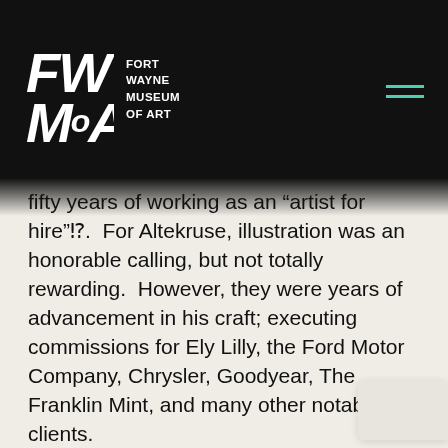[Figure (logo): Fort Wayne Museum of Art logo with stylized FWMA letters in white on black background, with hamburger menu icon in teal]
fifty years of working as an “artist for hire”⁉.  For Altekruse, illustration was an honorable calling, but not totally rewarding.  However, they were years of advancement in his craft; executing commissions for Ely Lilly, the Ford Motor Company, Chrysler, Goodyear, The Franklin Mint, and many other notable clients.
After retirement from his career in illustration in 1995, and, again, at the urging of his wife, Max Altekruse returned to painting.
Altekruse has received numerous awards and accolades through the decades of his career as an